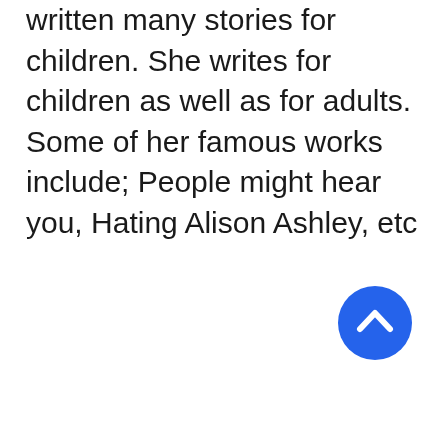written many stories for children. She writes for children as well as for adults. Some of her famous works include; People might hear you, Hating Alison Ashley, etc
[Figure (other): A blue circular button with a white upward-pointing chevron/arrow icon, positioned in the lower-right area of the page.]